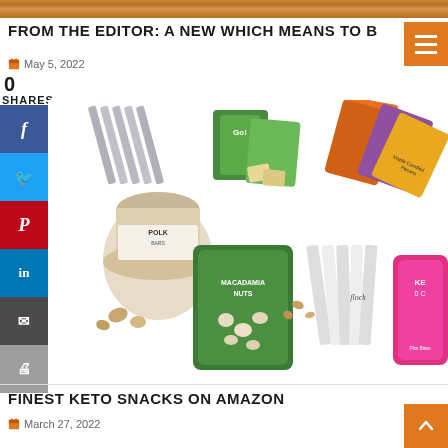[Figure (photo): Top banner image showing golden/orange textured background (food-related, grain/nut texture)]
FROM THE EDITOR: A NEW WHICH MEANS TO B
May 5, 2022
0
SHARES
[Figure (infographic): Social media sharing sidebar with Facebook (f), Twitter (bird), Pinterest (P), LinkedIn (in), Email (envelope), Print icons in colored buttons]
[Figure (photo): Collage of keto snack products including a jar of nuts (Polk), green macadamia nuts bag, crackers in green packaging, various snack packages from Flock and other brands, pink keto snack bags]
FINEST KETO SNACKS ON AMAZON
March 27, 2022